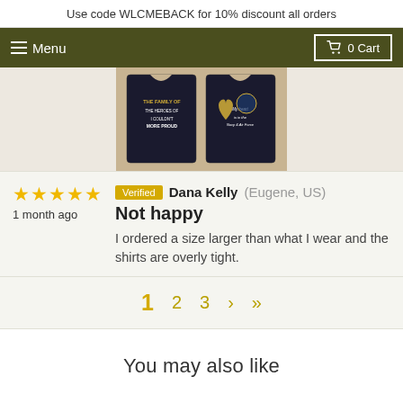Use code WLCMEBACK for 10% discount all orders
Menu  0 Cart
[Figure (photo): Photo of two printed t-shirts with military/patriotic text designs, laid flat on a tan/beige background. Left shirt reads 'I COULDN'T BE MORE PROUD', right shirt has a heart design reading 'My heart is in the Navy & Air Force']
★★★★★
1 month ago
Verified  Dana Kelly (Eugene, US)
Not happy
I ordered a size larger than what I wear and the shirts are overly tight.
1  2  3  ›  »
You may also like